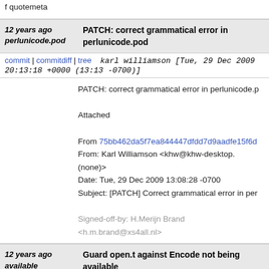f quotemeta
12 years ago PATCH: correct grammatical error in perlunicode.pod
commit | commitdiff | tree   karl williamson [Tue, 29 Dec 2009 20:13:18 +0000 (13:13 -0700)]
PATCH: correct grammatical error in perlunicode.p

Attached

From 75bb462da5f7ea844447dfdd7d9aadfe15f6d
From: Karl Williamson <khw@khw-desktop.(none)>
Date: Tue, 29 Dec 2009 13:08:28 -0700
Subject: [PATCH] Correct grammatical error in per

Signed-off-by: H.Merijn Brand <h.m.brand@xs4all.nl>
12 years ago Guard open.t against Encode not being available
commit | commitdiff | tree   H.Merijn Brand [Tue, 29 Dec 2009 16:17:21 +0000 (17:17 +0100)]
Guard open.t against Encode not being available

Similar changes should/could be made to cpan/CO